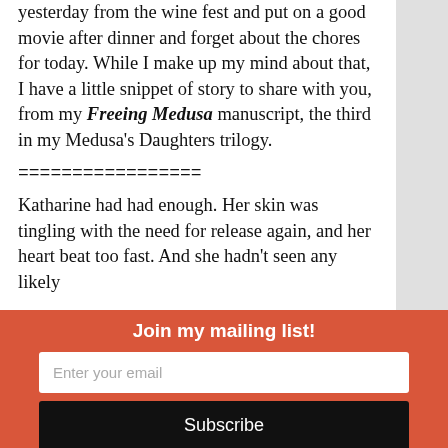yesterday from the wine fest and put on a good movie after dinner and forget about the chores for today. While I make up my mind about that, I have a little snippet of story to share with you, from my Freeing Medusa manuscript, the third in my Medusa's Daughters trilogy.
=================
Katharine had had enough. Her skin was tingling with the need for release again, and her heart beat too fast. And she hadn't seen any likely
Join my mailing list!
Enter your email
Subscribe